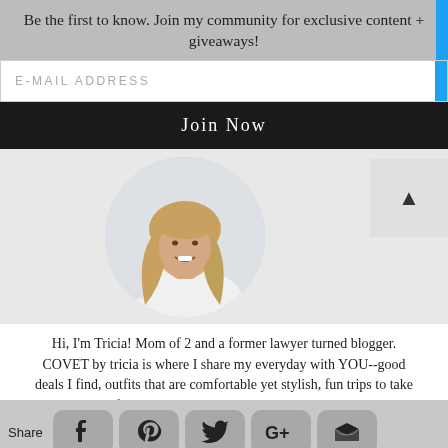Be the first to know. Join my community for exclusive content + giveaways!
E-MAIL ADDRESS
Join Now
[Figure (photo): Circular profile photo of a blonde woman smiling, wearing a white off-shoulder top]
Hi, I'm Tricia! Mom of 2 and a former lawyer turned blogger. COVET by tricia is where I share my everyday with YOU--good deals I find, outfits that are comfortable yet stylish, fun trips to take with your family, and everything in between. Follow me on Instagram @covetbytricia to get exclusive content that doesn't make it to the blog!
Share